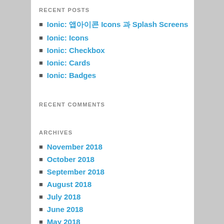RECENT POSTS
Ionic: 앱아이콘 Icons 과 Splash Screens
Ionic: Icons
Ionic: Checkbox
Ionic: Cards
Ionic: Badges
RECENT COMMENTS
ARCHIVES
November 2018
October 2018
September 2018
August 2018
July 2018
June 2018
May 2018
April 2018
March 2018
February 2018
January 2018